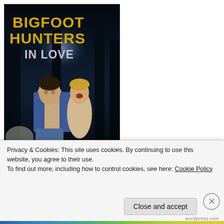[Figure (illustration): Book cover for 'Bigfoot Hunters in Love' by Jamie Fessenden. Dark forest background with glowing light. Two male figures in the foreground. Title text in gold/yellow Impact font at top, author name in gold at bottom.]
Privacy & Cookies: This site uses cookies. By continuing to use this website, you agree to their use.
To find out more, including how to control cookies, see here: Cookie Policy
Close and accept